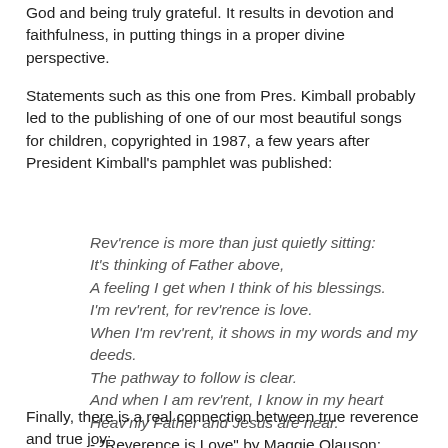God and being truly grateful. It results in devotion and faithfulness, in putting things in a proper divine perspective.
Statements such as this one from Pres. Kimball probably led to the publishing of one of our most beautiful songs for children, copyrighted in 1987, a few years after President Kimball's pamphlet was published:
Rev'rence is more than just quietly sitting:
It's thinking of Father above,
A feeling I get when I think of his blessings.
I'm rev'rent, for rev'rence is love.
When I'm rev'rent, it shows in my words and my deeds.
The pathway to follow is clear.
And when I am rev'rent, I know in my heart
Heav'nly Father and Jesus are near.
- "Reverence is Love" by Maggie Olauson;
Children's Songbook p. 31
Finally, there is a real connection between true reverence and true joy: